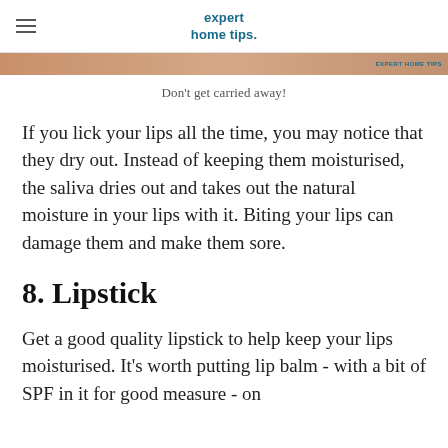expert home tips.
[Figure (photo): Partial image strip showing a close-up skin/lip photo with 'EXPERT HOME TIPS' watermark at right edge]
Don't get carried away!
If you lick your lips all the time, you may notice that they dry out. Instead of keeping them moisturised, the saliva dries out and takes out the natural moisture in your lips with it. Biting your lips can damage them and make them sore.
8. Lipstick
Get a good quality lipstick to help keep your lips moisturised. It's worth putting lip balm - with a bit of SPF in it for good measure - on